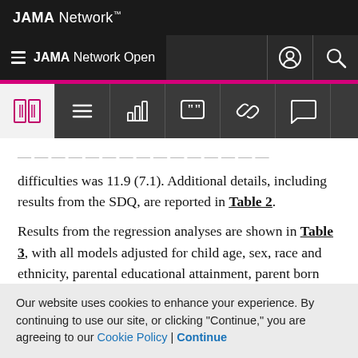JAMA Network
JAMA Network Open
difficulties was 11.9 (7.1). Additional details, including results from the SDQ, are reported in Table 2.
Results from the regression analyses are shown in Table 3, with all models adjusted for child age, sex, race and ethnicity, parental educational attainment, parent born outside the US, school status, and parent Patient Health Questionnaire for Depression and Anxiety score. COVID-19
Our website uses cookies to enhance your experience. By continuing to use our site, or clicking "Continue," you are agreeing to our Cookie Policy | Continue